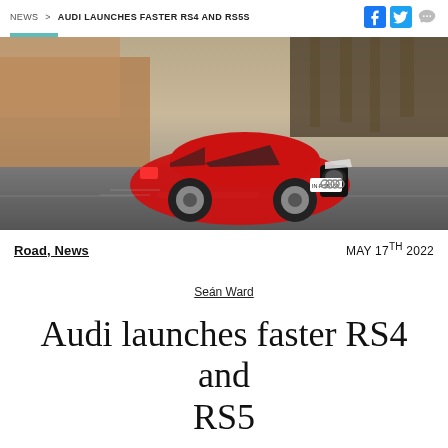NEWS > AUDI LAUNCHES FASTER RS4 AND RS5S
[Figure (photo): Red Audi RS5 coupe driving on a road with trees and hillside in the background, motion blur on road and background, license plate IN-RS5151]
Road, News	MAY 17TH 2022
Seán Ward
Audi launches faster RS4 and RS5